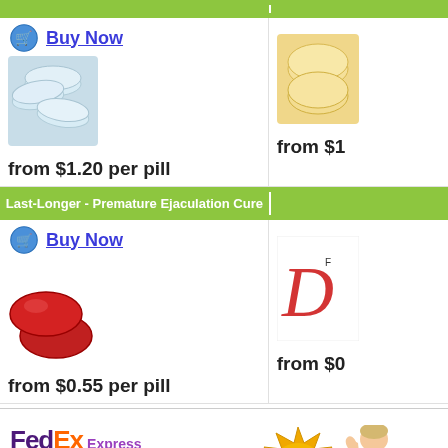Last-Longer - Premature Ejaculation Cure
Buy Now
[Figure (photo): Blue/white tablets pill image]
from $1.20 per pill
[Figure (photo): Yellow pill image (partial, right column)]
from $1
Last-Longer - Premature Ejaculation Cure
Buy Now
[Figure (photo): Red round pills image]
from $0.55 per pill
[Figure (photo): D logo image (partial, right column)]
from $0
[Figure (logo): FedEx Express logo]
All products are discreetly shipped in a
[Figure (infographic): 100% Satisfaction Risk Free Guaranteed badge with thumbs up person]